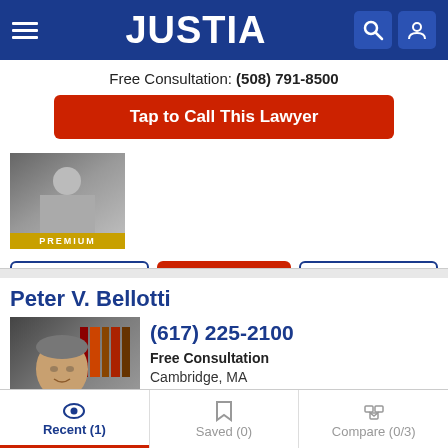JUSTIA
Free Consultation: (508) 791-8500
Tap to Call This Lawyer
[Figure (photo): Lawyer headshot small with PREMIUM badge]
Website | Email | Profile
Peter V. Bellotti
[Figure (photo): Peter V. Bellotti headshot with PREMIUM badge]
(617) 225-2100
Free Consultation
Cambridge, MA
Recent (1)  Saved (0)  Compare (0/3)